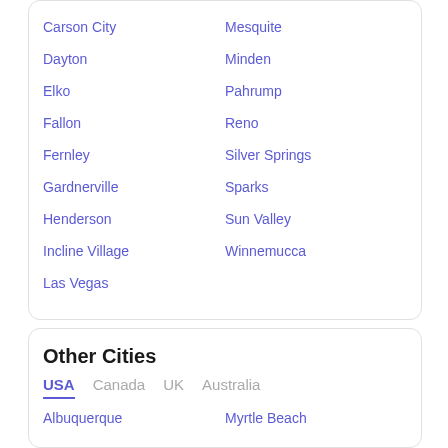Carson City
Mesquite
Dayton
Minden
Elko
Pahrump
Fallon
Reno
Fernley
Silver Springs
Gardnerville
Sparks
Henderson
Sun Valley
Incline Village
Winnemucca
Las Vegas
Other Cities
USA | Canada | UK | Australia
Albuquerque
Myrtle Beach